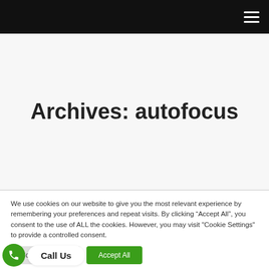Navigation header bar with hamburger menu
Archives: autofocus
We use cookies on our website to give you the most relevant experience by remembering your preferences and repeat visits. By clicking “Accept All”, you consent to the use of ALL the cookies. However, you may visit "Cookie Settings" to provide a controlled consent.
Cookie Settings | Accept All | Call Us